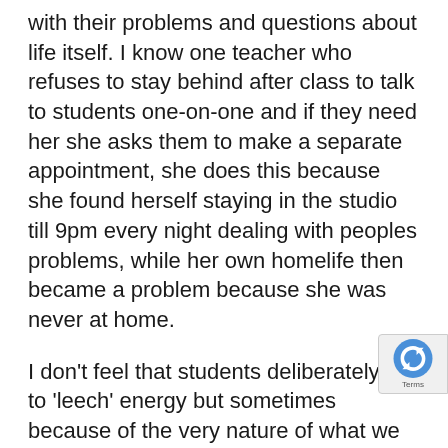with their problems and questions about life itself. I know one teacher who refuses to stay behind after class to talk to students one-on-one and if they need her she asks them to make a separate appointment, she does this because she found herself staying in the studio till 9pm every night dealing with peoples problems, while her own homelife then became a problem because she was never at home.
I don't feel that students deliberately try to 'leech' energy but sometimes because of the very nature of what we do, students will cling to us to make themselves feel better.
So what can we do to prevent feeling drained of energy? Well, firstly find what works for you. What